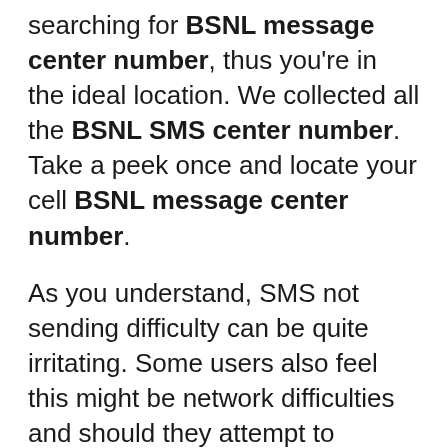searching for BSNL message center number, thus you're in the ideal location. We collected all the BSNL SMS center number. Take a peek once and locate your cell BSNL message center number.
As you understand, SMS not sending difficulty can be quite irritating. Some users also feel this might be network difficulties and should they attempt to message after hardly they then won't confront the issue. However, when they try to send the message, they then face this matter, and they become confused about why SMS isn't